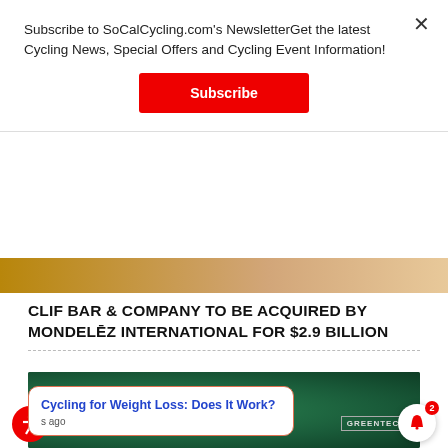Subscribe to SoCalCycling.com's NewsletterGet the latest Cycling News, Special Offers and Cycling Event Information!
Subscribe
CLIF BAR & COMPANY TO BE ACQUIRED BY MONDELĒZ INTERNATIONAL FOR $2.9 BILLION
[Figure (screenshot): Dark green background with leaf pattern and greentech branding]
Cycling for Weight Loss: Does It Work?
s ago